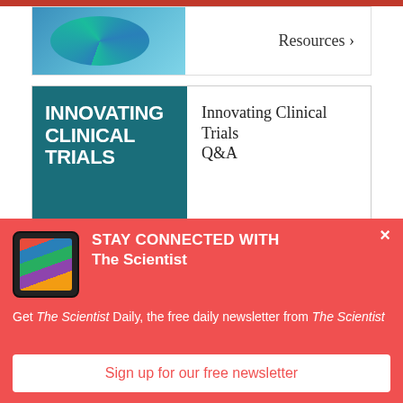[Figure (screenshot): Partial top card with circular graphic on left and 'Resources' text with arrow on right]
Resources
[Figure (screenshot): Innovating Clinical Trials podcast card with teal background, Lab Talk Podcast Series branding, and Amgen logo sponsor box]
Innovating Clinical Trials Q&A
[Figure (logo): AMGEN logo in blue italic bold text inside a blue border box]
[Figure (screenshot): Tablet device showing The Scientist Daily newsletter app]
STAY CONNECTED WITH The Scientist
Get The Scientist Daily, the free daily newsletter from The Scientist
Sign up for our free newsletter